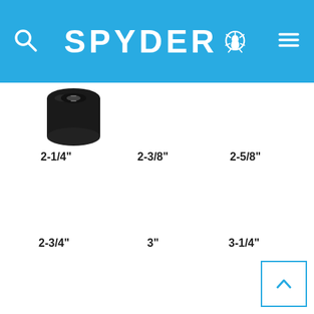SPYDER
[Figure (photo): Black cylindrical tool/socket product shown from above]
2-1/4"
2-3/8"
2-5/8"
2-3/4"
3"
3-1/4"